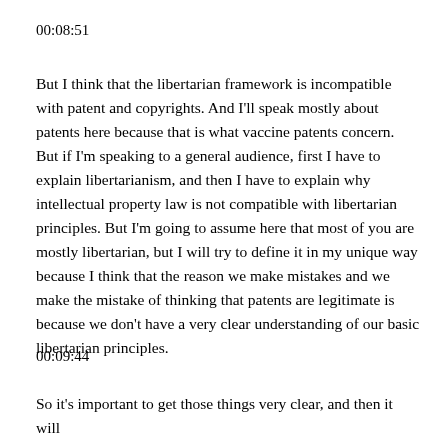00:08:51
But I think that the libertarian framework is incompatible with patent and copyrights.  And I'll speak mostly about patents here because that is what vaccine patents concern.  But if I'm speaking to a general audience, first I have to explain libertarianism, and then I have to explain why intellectual property law is not compatible with libertarian principles.  But I'm going to assume here that most of you are mostly libertarian, but I will try to define it in my unique way because I think that the reason we make mistakes and we make the mistake of thinking that patents are legitimate is because we don't have a very clear understanding of our basic libertarian principles.
00:09:44
So it's important to get those things very clear, and then it will